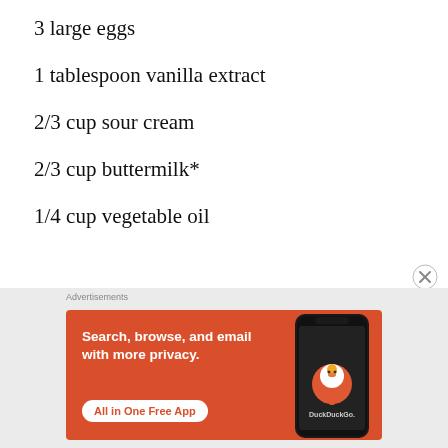3 large eggs
1 tablespoon vanilla extract
2/3 cup sour cream
2/3 cup buttermilk*
1/4 cup vegetable oil
[Figure (other): DuckDuckGo advertisement banner: orange background with text 'Search, browse, and email with more privacy. All in One Free App' and a phone image with DuckDuckGo logo.]